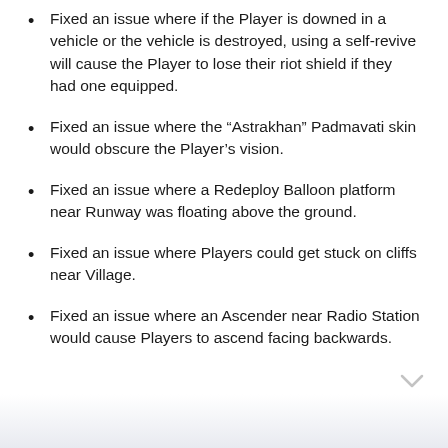Fixed an issue where if the Player is downed in a vehicle or the vehicle is destroyed, using a self-revive will cause the Player to lose their riot shield if they had one equipped.
Fixed an issue where the “Astrakhan” Padmavati skin would obscure the Player’s vision.
Fixed an issue where a Redeploy Balloon platform near Runway was floating above the ground.
Fixed an issue where Players could get stuck on cliffs near Village.
Fixed an issue where an Ascender near Radio Station would cause Players to ascend facing backwards.